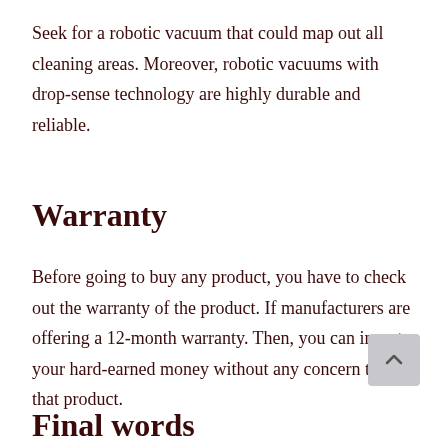Seek for a robotic vacuum that could map out all cleaning areas. Moreover, robotic vacuums with drop-sense technology are highly durable and reliable.
Warranty
Before going to buy any product, you have to check out the warranty of the product. If manufacturers are offering a 12-month warranty. Then, you can invest your hard-earned money without any concern to get that product.
Final words